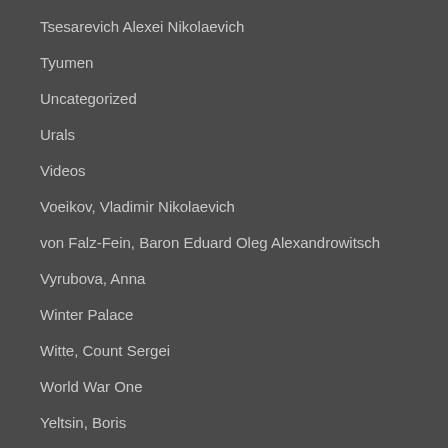Tsesarevich Alexei Nikolaevich
Tyumen
Uncategorized
Urals
Videos
Voeikov, Vladimir Nikolaevich
von Falz-Fein, Baron Eduard Oleg Alexandrowitsch
Vyrubova, Anna
Winter Palace
Witte, Count Sergei
World War One
Yeltsin, Boris
Yermilova, Larissa
Yurovsky, Yakov